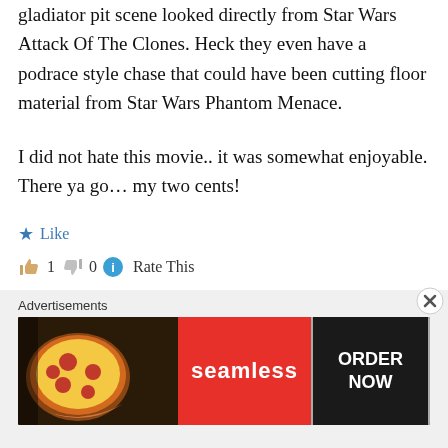gladiator pit scene looked directly from Star Wars Attack Of The Clones. Heck they even have a podrace style chase that could have been cutting floor material from Star Wars Phantom Menace.
I did not hate this movie.. it was somewhat enjoyable. There ya go… my two cents!
★ Like
👍 1  👎 0  ℹ Rate This
↳ Reply
Advertisements
[Figure (screenshot): Seamless food delivery advertisement banner showing pizza image on left, red background with 'seamless' logo in center, and 'ORDER NOW' button on right with dark background.]